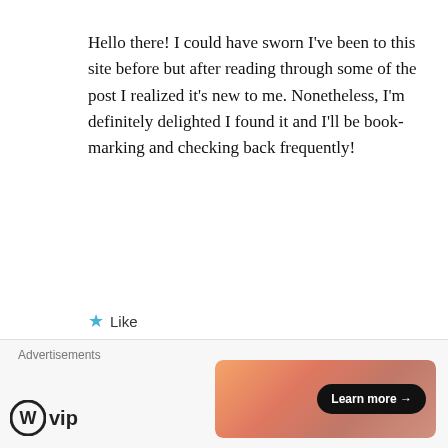Hello there! I could have sworn I've been to this site before but after reading through some of the post I realized it's new to me. Nonetheless, I'm definitely delighted I found it and I'll be book-marking and checking back frequently!
★ Like
bmw wheels www.modbargains.com on September 25, 2014 at 10:28 am
Advertisements
[Figure (logo): WordPress VIP logo with W circle and vip text]
[Figure (infographic): Orange/pink gradient banner with Learn more arrow button]